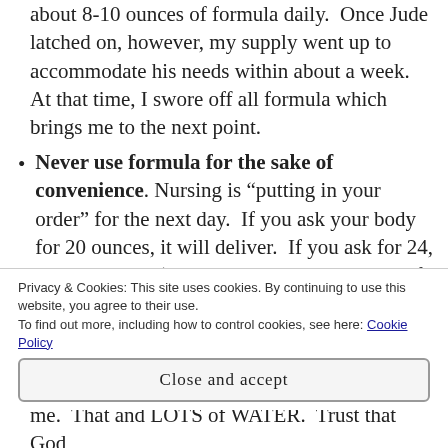about 8-10 ounces of formula daily. Once Jude latched on, however, my supply went up to accommodate his needs within about a week. At that time, I swore off all formula which brings me to the next point.
Never use formula for the sake of convenience. Nursing is “putting in your order” for the next day. If you ask your body for 20 ounces, it will deliver. If you ask for 24, it will deliver. (Usually anyway. There are, of course, thyroid issues and breast surgeries that can interfere with milk production.) If
Privacy & Cookies: This site uses cookies. By continuing to use this website, you agree to their use.
To find out more, including how to control cookies, see here: Cookie Policy
Close and accept
me. That and LOTS of WATER. Trust that God